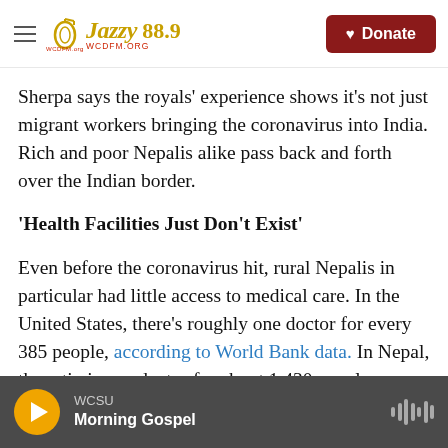Jazzy 88.9 | Donate
Sherpa says the royals' experience shows it's not just migrant workers bringing the coronavirus into India. Rich and poor Nepalis alike pass back and forth over the Indian border.
'Health Facilities Just Don't Exist'
Even before the coronavirus hit, rural Nepalis in particular had little access to medical care. In the United States, there's roughly one doctor for every 385 people, according to World Bank data. In Nepal, the ratio is one doctor for about 1,430 people.
But most of Nepal's health workers are based in the
WCSU Morning Gospel